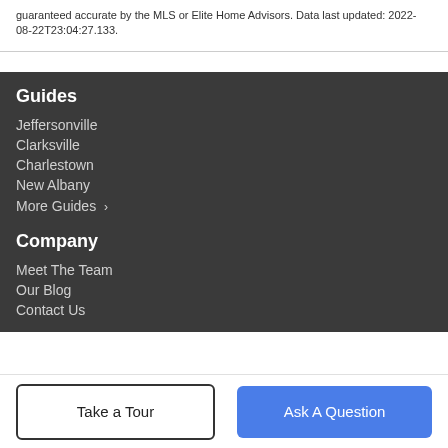guaranteed accurate by the MLS or Elite Home Advisors. Data last updated: 2022-08-22T23:04:27.133.
Guides
Jeffersonville
Clarksville
Charlestown
New Albany
More Guides >
Company
Meet The Team
Our Blog
Contact Us
Take a Tour
Ask A Question